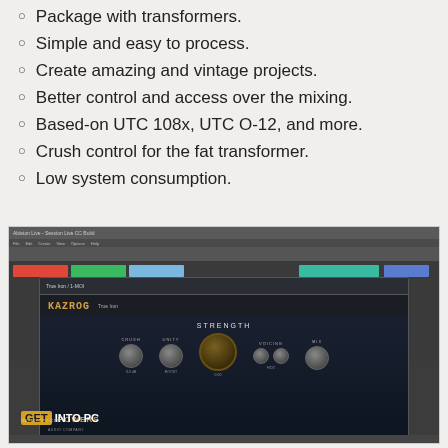Package with transformers.
Simple and easy to process.
Create amazing and vintage projects.
Better control and access over the mixing.
Based-on UTC 108x, UTC O-12, and more.
Crush control for the fat transformer.
Low system consumption.
[Figure (screenshot): Screenshot of Ableton Live DAW with KAZROG True Iron plugin open, showing STRENGTH, CRUSH, MIX, VOICING knobs and POWERS AUDIO COMPANY branding. GET INTO PC watermark visible.]